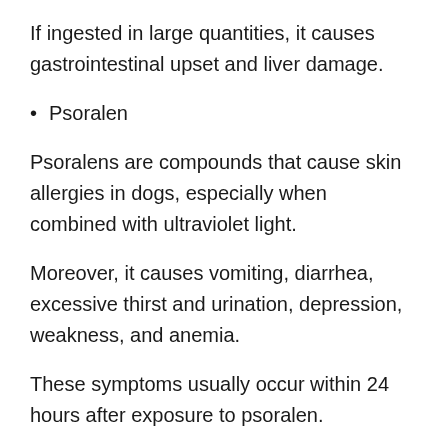If ingested in large quantities, it causes gastrointestinal upset and liver damage.
Psoralen
Psoralens are compounds that cause skin allergies in dogs, especially when combined with ultraviolet light.
Moreover, it causes vomiting, diarrhea, excessive thirst and urination, depression, weakness, and anemia.
These symptoms usually occur within 24 hours after exposure to psoralen.